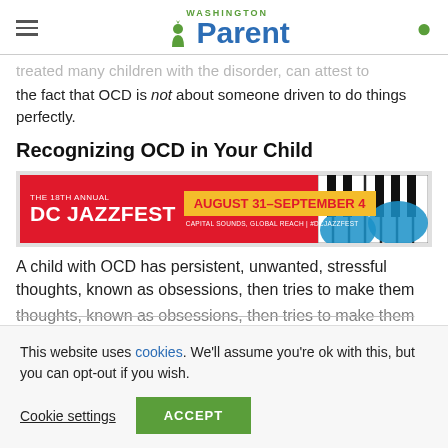Washington Parent
the fact that OCD is not about someone driven to do things perfectly.
Recognizing OCD in Your Child
[Figure (infographic): Advertisement banner for The 18th Annual DC Jazzfest, August 31–September 4. Capital Sounds, Global Reach | #DCJazzFest]
A child with OCD has persistent, unwanted, stressful thoughts, known as obsessions, then tries to make them
This website uses cookies. We'll assume you're ok with this, but you can opt-out if you wish.